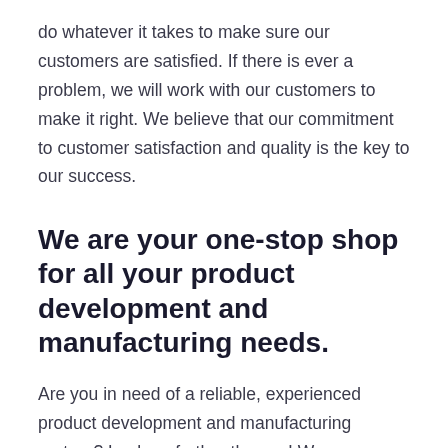do whatever it takes to make sure our customers are satisfied. If there is ever a problem, we will work with our customers to make it right. We believe that our commitment to customer satisfaction and quality is the key to our success.
We are your one-stop shop for all your product development and manufacturing needs.
Are you in need of a reliable, experienced product development and manufacturing partner? Look no further than us! We are